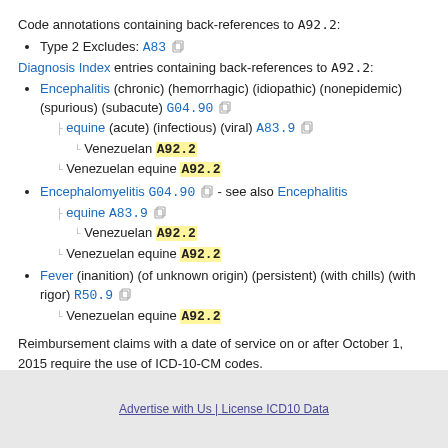Code annotations containing back-references to A92.2:
Type 2 Excludes: A83
Diagnosis Index entries containing back-references to A92.2:
Encephalitis (chronic) (hemorrhagic) (idiopathic) (nonepidemic) (spurious) (subacute) G04.90
  equine (acute) (infectious) (viral) A83.9
    Venezuelan A92.2
  Venezuelan equine A92.2
Encephalomyelitis G04.90 - see also Encephalitis
  equine A83.9
    Venezuelan A92.2
  Venezuelan equine A92.2
Fever (inanition) (of unknown origin) (persistent) (with chills) (with rigor) R50.9
  Venezuelan equine A92.2
Reimbursement claims with a date of service on or after October 1, 2015 require the use of ICD-10-CM codes.
Advertise with Us | License ICD10 Data